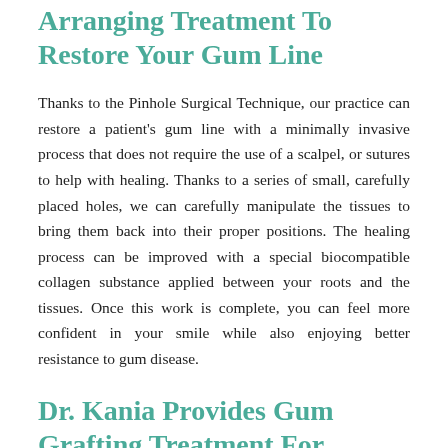Arranging Treatment To Restore Your Gum Line
Thanks to the Pinhole Surgical Technique, our practice can restore a patient's gum line with a minimally invasive process that does not require the use of a scalpel, or sutures to help with healing. Thanks to a series of small, carefully placed holes, we can carefully manipulate the tissues to bring them back into their proper positions. The healing process can be improved with a special biocompatible collagen substance applied between your roots and the tissues. Once this work is complete, you can feel more confident in your smile while also enjoying better resistance to gum disease.
Dr. Kania Provides Gum Grafting Treatment For Patients
Our Encinitas/San Diego, CA periodontal practice is committed to helping patients take care of their gums. Through gum grafting work, we can address